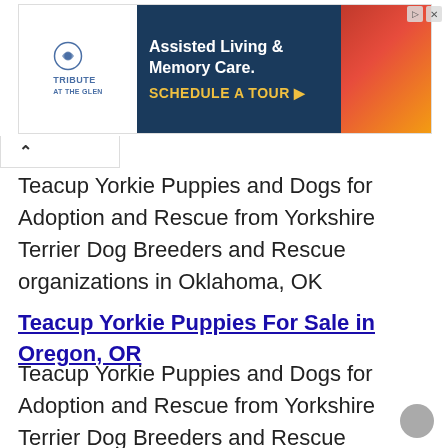[Figure (screenshot): Advertisement banner for Tribute at the Glen - Assisted Living & Memory Care with Schedule a Tour CTA]
Teacup Yorkie Puppies and Dogs for Adoption and Rescue from Yorkshire Terrier Dog Breeders and Rescue organizations in Oklahoma, OK
Teacup Yorkie Puppies For Sale in Oregon, OR
Teacup Yorkie Puppies and Dogs for Adoption and Rescue from Yorkshire Terrier Dog Breeders and Rescue organizations in Oregon, OR